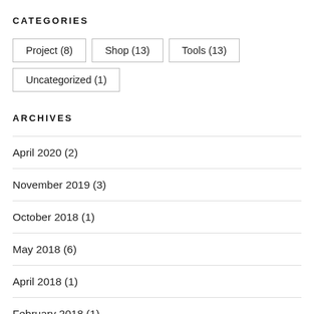CATEGORIES
Project (8)
Shop (13)
Tools (13)
Uncategorized (1)
ARCHIVES
April 2020 (2)
November 2019 (3)
October 2018 (1)
May 2018 (6)
April 2018 (1)
February 2018 (1)